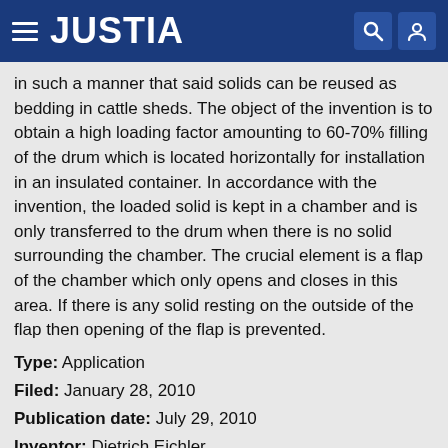JUSTIA
in such a manner that said solids can be reused as bedding in cattle sheds. The object of the invention is to obtain a high loading factor amounting to 60-70% filling of the drum which is located horizontally for installation in an insulated container. In accordance with the invention, the loaded solid is kept in a chamber and is only transferred to the drum when there is no solid surrounding the chamber. The crucial element is a flap of the chamber which only opens and closes in this area. If there is any solid resting on the outside of the flap then opening of the flap is prevented.
Type: Application
Filed: January 28, 2010
Publication date: July 29, 2010
Inventor: Dietrich Eichler